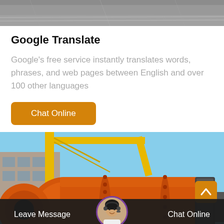[Figure (photo): Top portion of a road or pavement image, partially visible, gray tones]
Google Translate
Google's free service instantly translates words, phrases, and web pages between English and over 100 other languages
Chat Online
[Figure (photo): Industrial ball mill machine, orange/rust colored cylindrical drum with yellow crane structure, factory building in background, blue sky]
Leave Message  Chat Online